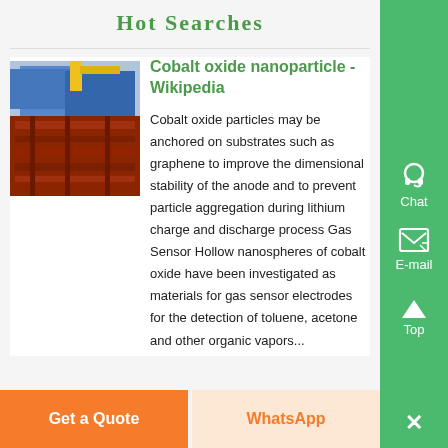Hot Searches
[Figure (photo): Industrial or construction equipment photo showing red metal structures and blue tarpaulin/covering outdoors]
Cobalt oxide nanoparticle - Wikipedia
Cobalt oxide particles may be anchored on substrates such as graphene to improve the dimensional stability of the anode and to prevent particle aggregation during lithium charge and discharge process Gas Sensor Hollow nanospheres of cobalt oxide have been investigated as materials for gas sensor electrodes for the detection of toluene, acetone and other organic vapors...